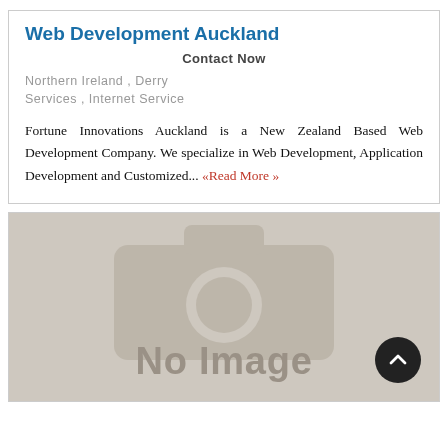Web Development Auckland
Contact Now
Northern Ireland , Derry
Services , Internet Service
Fortune Innovations Auckland is a New Zealand Based Web Development Company. We specialize in Web Development, Application Development and Customized... «Read More »
[Figure (illustration): A placeholder image box with a camera icon silhouette and 'No Image' text on a beige/tan background, with a dark circular scroll-to-top button in the bottom right corner.]